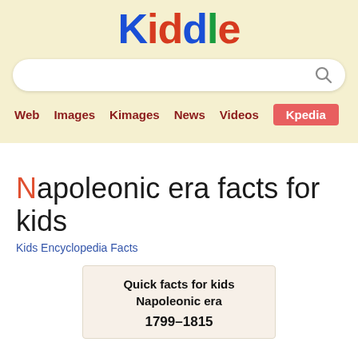[Figure (logo): Kiddle logo with colorful letters K-i-d-d-l-e]
[Figure (screenshot): Search bar with magnifying glass icon]
Web  Images  Kimages  News  Videos  Kpedia
Napoleonic era facts for kids
Kids Encyclopedia Facts
| Quick facts for kids |  |
| --- | --- |
| Napoleonic era |  |
| 1799–1815 |  |